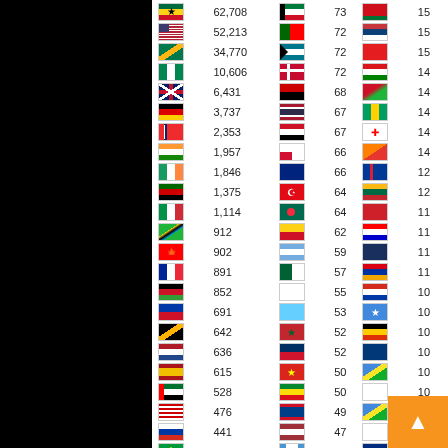| Flag | Value | Flag | Value | Flag | Value |
| --- | --- | --- | --- | --- | --- |
| Ghana | 62,708 | Kuwait | 73 | Belarus | 15 |
| USA | 52,213 | Portugal | 72 | Serbia | 15 |
| South Africa | 34,770 | Bahamas | 72 | Albania | 15 |
| Nigeria | 10,606 | Denmark | 72 | Oman | 14 |
| UK | 6,431 | Angola | 68 | Burundi | 14 |
| Germany | 3,737 | Thailand | 67 | St. Vincent | 14 |
| Norway | 2,353 | Iraq | 67 | Georgia | 14 |
| India | 1,957 | Panama | 66 | Bhutan | 14 |
| Ireland | 1,846 | New Zealand | 66 | Iceland | 12 |
| Kenya | 1,375 | Turkey | 64 | Lithuania | 12 |
| Italy | 1,114 | Bangladesh | 64 | Macedonia | 11 |
| Tanzania | 912 | Colombia | 62 | Croatia | 11 |
| Canada | 902 | Argentina | 59 | Guam | 11 |
| France | 891 | Algeria | 57 | Armenia | 11 |
| Malawi | 852 | South Korea | 55 | Paraguay | 10 |
| Philippines | 691 | St. Lucia | 53 | Somalia | 10 |
| Jamaica | 642 | Morocco | 52 | Uganda | 10 |
| Netherlands | 636 | Dominican Republic | 52 | Cayman Islands | 10 |
| Spain | 615 | Vietnam | 50 | Eritrea | 10 |
| UAE | 528 | Ethiopia | 50 | Cyprus | 10 |
| Malaysia | 476 | Belize | 49 | Comoros | 10 |
| Russia | 441 | Latvia | 47 | Cyprus | 9 |
| Brazil | 398 | Guatemala | 45 | Nauru | 9 |
| Belgium | 393 | Lebanon | 43 | Samoa | 9 |
| Switzerland | 383 | Chad | 41 | Afghanistan | 9 |